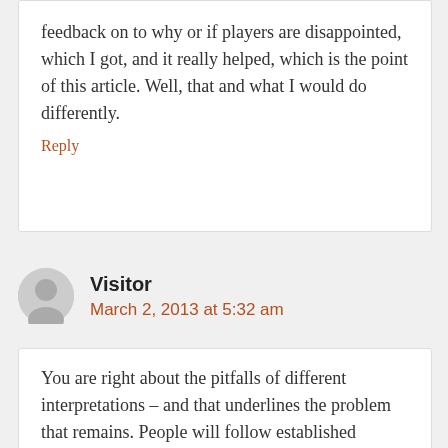feedback on to why or if players are disappointed, which I got, and it really helped, which is the point of this article. Well, that and what I would do differently.
Reply
Visitor
March 2, 2013 at 5:32 am
You are right about the pitfalls of different interpretations – and that underlines the problem that remains. People will follow established 'standards' and if they differ, it may